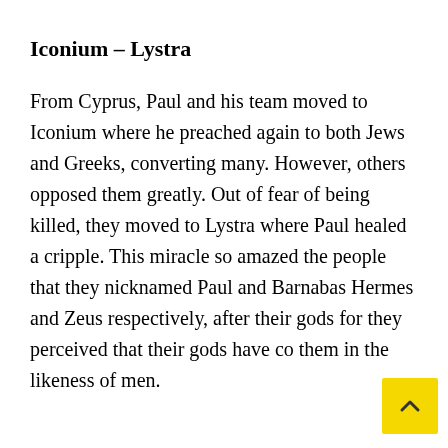Iconium – Lystra
From Cyprus, Paul and his team moved to Iconium where he preached again to both Jews and Greeks, converting many. However, others opposed them greatly. Out of fear of being killed, they moved to Lystra where Paul healed a cripple. This miracle so amazed the people that they nicknamed Paul and Barnabas Hermes and Zeus respectively, after their gods for they perceived that their gods have come them in the likeness of men.